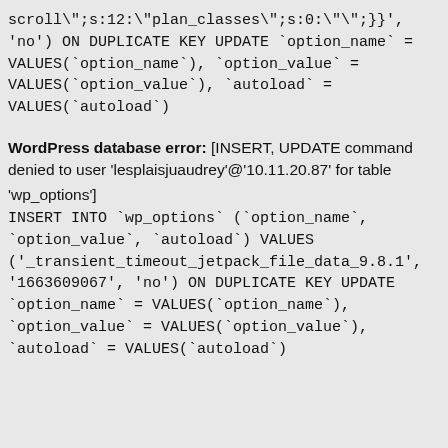scroll\";s:12:\"plan_classes\";s:0:\"\";}}',
'no') ON DUPLICATE KEY UPDATE `option_name` =
VALUES(`option_name`), `option_value` =
VALUES(`option_value`), `autoload` =
VALUES(`autoload`)
WordPress database error: [INSERT, UPDATE command denied to user 'lesplaisjuaudrey'@'10.11.20.87' for table 'wp_options']
INSERT INTO `wp_options` (`option_name`, `option_value`, `autoload`) VALUES ('_transient_timeout_jetpack_file_data_9.8.1', '1663609067', 'no') ON DUPLICATE KEY UPDATE `option_name` = VALUES(`option_name`), `option_value` = VALUES(`option_value`), `autoload` = VALUES(`autoload`)